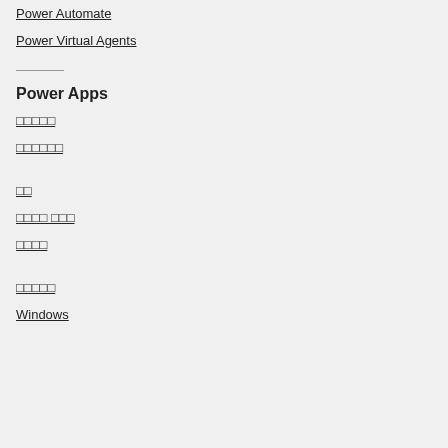Power Automate
Power Virtual Agents
Power Apps
□□□□□
□□□□□□
□□
□□□□ □□□
□□□□
□□□□□
Windows